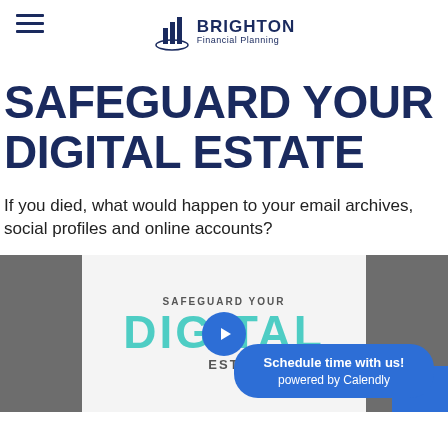Brighton Financial Planning
SAFEGUARD YOUR DIGITAL ESTATE
If you died, what would happen to your email archives, social profiles and online accounts?
[Figure (screenshot): Video thumbnail showing 'Safeguard Your Digital Estate' with teal hand-drawn text and a play button, flanked by dark gray side panels. A Calendly scheduling badge overlays the lower right: 'Schedule time with us! powered by Calendly']